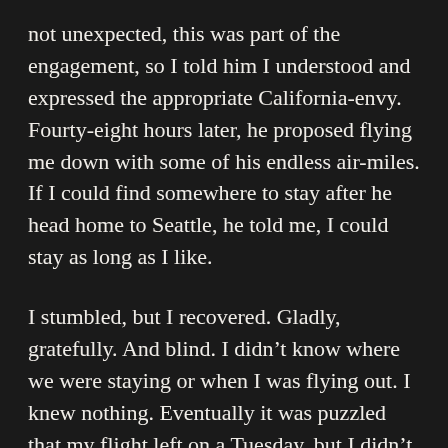not unexpected, this was part of the engagement, so I told him I understood and expressed the appropriate California-envy. Fourty-eight hours later, he proposed flying me down with some of his endless air-miles. If I could find somewhere to stay after he head home to Seattle, he told me, I could stay as long as I like.
I stumbled, but I recovered. Gladly, gratefully. And blind. I didn't know where we were staying or when I was flying out. I knew nothing. Eventually it was puzzled that my flight left on a Tuesday, but I didn't have an itinerary until 4:30 Monday morning. And that was fine. It's was trust exercise. It was fun. I was happy.